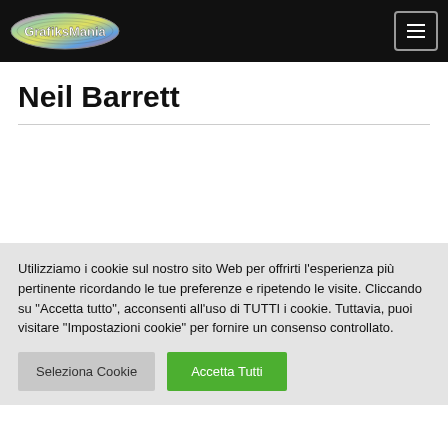GrafiksMania [logo] [menu button]
Neil Barrett
Utilizziamo i cookie sul nostro sito Web per offrirti l'esperienza più pertinente ricordando le tue preferenze e ripetendo le visite. Cliccando su "Accetta tutto", acconsenti all'uso di TUTTI i cookie. Tuttavia, puoi visitare "Impostazioni cookie" per fornire un consenso controllato.
Seleziona Cookie | Accetta Tutti